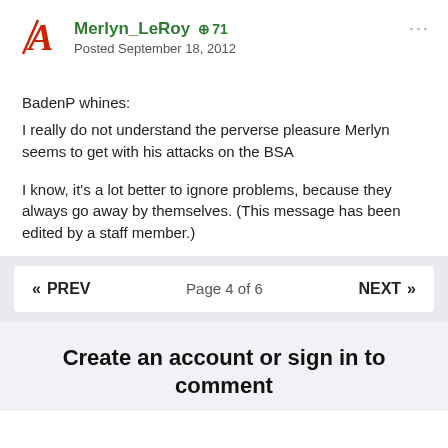Merlyn_LeRoy +71 Posted September 18, 2012
BadenP whines:
I really do not understand the perverse pleasure Merlyn seems to get with his attacks on the BSA
I know, it's a lot better to ignore problems, because they always go away by themselves. (This message has been edited by a staff member.)
« PREV   Page 4 of 6   NEXT »
Create an account or sign in to comment